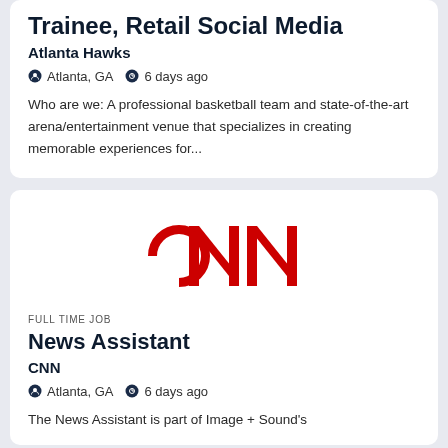Trainee, Retail Social Media
Atlanta Hawks
Atlanta, GA   6 days ago
Who are we: A professional basketball team and state-of-the-art arena/entertainment venue that specializes in creating memorable experiences for...
[Figure (logo): CNN red logo]
FULL TIME JOB
News Assistant
CNN
Atlanta, GA   6 days ago
The News Assistant is part of Image + Sound's